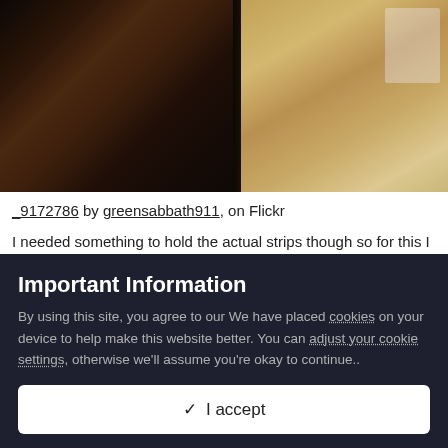[Figure (photo): A photograph showing two materials side by side: dark brown wood burl on the left, and lighter tan/beige wood on the right with a plastic bag visible.]
_9172786 by greensabbath911, on Flickr
I needed something to hold the actual strips though so for this I decided to route out a 3mm deep channel in some 1/4 inch
Important Information
By using this site, you agree to our We have placed cookies on your device to help make this website better. You can adjust your cookie settings, otherwise we'll assume you're okay to continue..